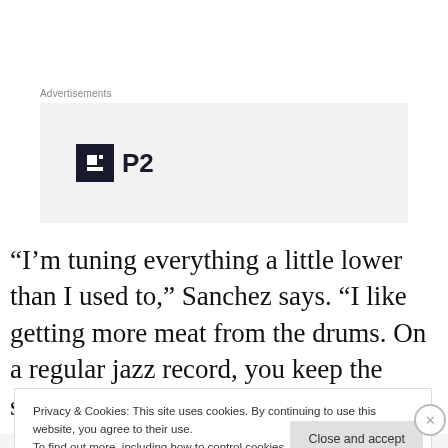Advertisements
[Figure (logo): P2 logo — dark square icon with letter H inside, followed by bold text 'P2' on a light grey advertisement background]
“I’m tuning everything a little lower than I used to,” Sanchez says. “I like getting more meat from the drums. On a regular jazz record, you keep the sound consistent and don’t change the tuning for just one piece, but here it
Privacy & Cookies: This site uses cookies. By continuing to use this website, you agree to their use.
To find out more, including how to control cookies, see here: Cookie Policy
Close and accept